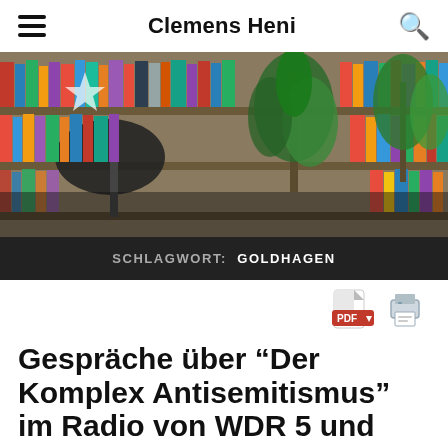Clemens Heni
[Figure (photo): Bookshelf with colorful books and a green plant, lamp in foreground, website header image for Clemens Heni blog]
SCHLAGWORT: GOLDHAGEN
[Figure (other): PDF download icon and print icon buttons]
Gespräche über “Der Komplex Antisemitismus” im Radio von WDR 5 und WDR 3